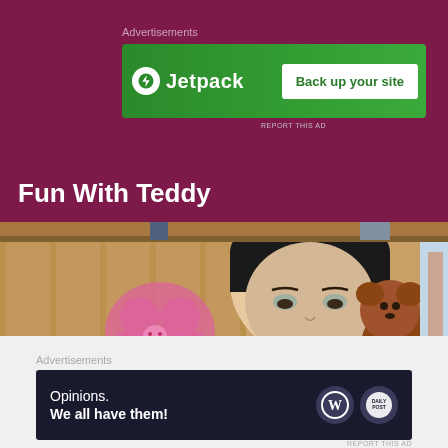Advertisements
[Figure (screenshot): Jetpack advertisement banner with green background showing lightning bolt icon, 'Jetpack' text, and 'Back up your site' button]
REPORT THIS AD
Fun With Teddy
[Figure (screenshot): Screenshot from The Sims game showing an animated female character with dark hair holding a brown teddy bear, with a pink heart graffiti on wooden wall in background]
Advertisements
[Figure (screenshot): WordPress advertisement banner with dark navy background showing 'Opinions. We all have them!' text with WordPress and another logo]